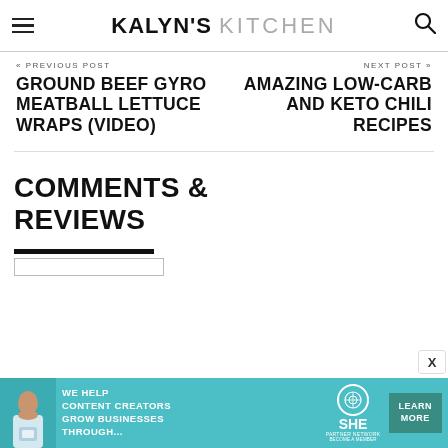KALYN'S KITCHEN
« PREVIOUS POST
NEXT POST »
GROUND BEEF GYRO MEATBALL LETTUCE WRAPS (VIDEO)
AMAZING LOW-CARB AND KETO CHILI RECIPES
COMMENTS & REVIEWS
[Figure (other): SHE Partner Network advertisement banner with photo of woman, text 'We help content creators grow businesses through...', SHE logo, and Learn More button]